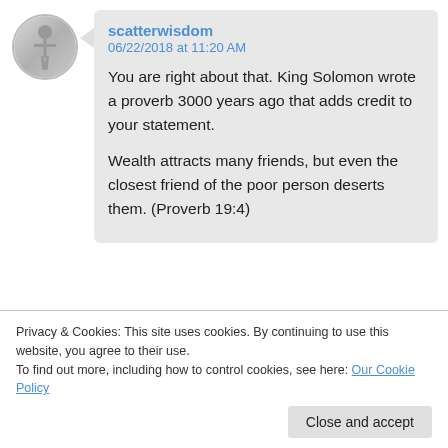[Figure (illustration): Circular avatar image showing a person silhouette]
scatterwisdom
06/22/2018 at 11:20 AM

You are right about that. King Solomon wrote a proverb 3000 years ago that adds credit to your statement.

Wealth attracts many friends, but even the closest friend of the poor person deserts them. (Proverb 19:4)
Privacy & Cookies: This site uses cookies. By continuing to use this website, you agree to their use.
To find out more, including how to control cookies, see here: Our Cookie Policy